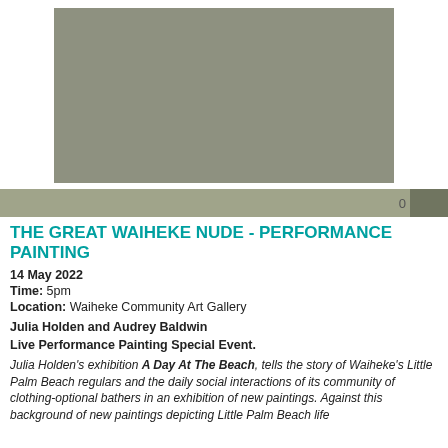[Figure (photo): A grey/olive-toned rectangular image placeholder representing an artwork or painting]
THE GREAT WAIHEKE NUDE - PERFORMANCE PAINTING
14 May 2022
Time: 5pm
Location: Waiheke Community Art Gallery
Julia Holden and Audrey Baldwin
Live Performance Painting Special Event.
Julia Holden's exhibition A Day At The Beach, tells the story of Waiheke's Little Palm Beach regulars and the daily social interactions of its community of clothing-optional bathers in an exhibition of new paintings. Against this background of new paintings depicting Little Palm Beach life